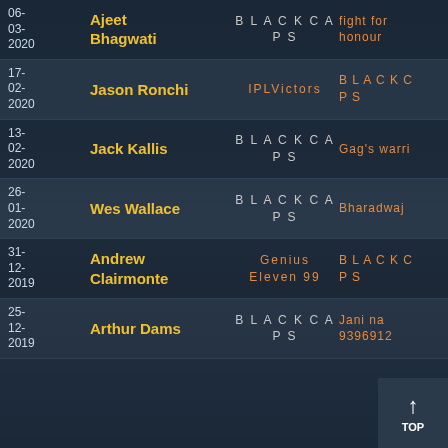| Date | Name | Team 1 | Team 2 |
| --- | --- | --- | --- |
| 06-03-2020 | Ajeet / Bhagwati | B L A C K C A P S | fight for honour |
| 17-02-2020 | Jason Ronchi | IPLVictors | B L A C K C P S |
| 13-02-2020 | Jack Kallis | B L A C K C A P S | Gag's warri |
| 26-01-2020 | Wes Wallace | B L A C K C A P S | Bharadwaj |
| 31-12-2019 | Andrew / Clairmonte | Genius Eleven 99 | B L A C K C P S |
| 25-12-2019 | Arthur Dams | B L A C K C A P S | Jani na 9396912 |